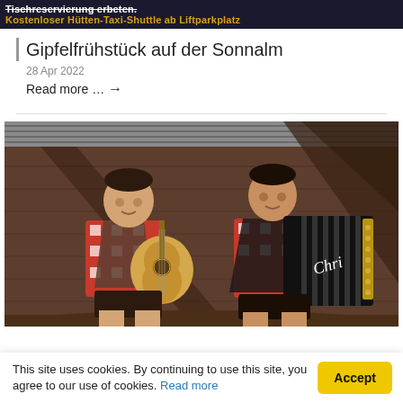Tischreservierung erbeten. Kostenloser Hütten-Taxi-Shuttle ab Liftparkplatz
Gipfelfrühstück auf der Sonnalm
28 Apr 2022
Read more … →
[Figure (photo): Two young men in traditional Austrian Tracht (lederhosen and checkered shirts) sitting against a wooden barn wall. Left person plays acoustic guitar, right person plays accordion with 'Chri' written on it.]
This site uses cookies. By continuing to use this site, you agree to our use of cookies. Read more